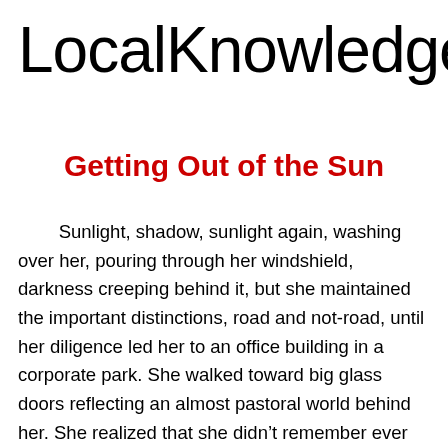LocalKnowledge
Getting Out of the Sun
Sunlight, shadow, sunlight again, washing over her, pouring through her windshield, darkness creeping behind it, but she maintained the important distinctions, road and not-road, until her diligence led her to an office building in a corporate park. She walked toward big glass doors reflecting an almost pastoral world behind her. She realized that she didn’t remember ever getting out of the car.
A security guard asked her how she was, asked if she was all right and told her to take it easy. She wasn’t able to